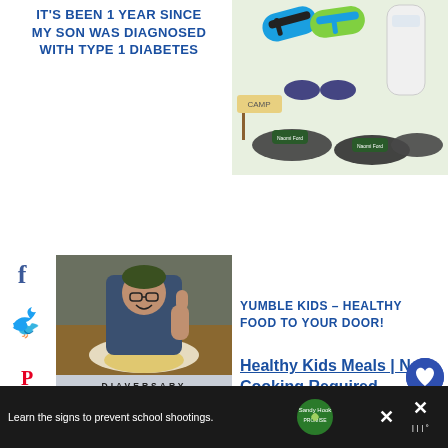IT'S BEEN 1 YEAR SINCE MY SON WAS DIAGNOSED WITH TYPE 1 DIABETES
[Figure (photo): Photo of sandals, shoes and camp accessories with name labels]
[Figure (photo): Boy giving thumbs up at restaurant with food, Diaversary card overlay]
DIAVERSARY
It's Been One Year Since My Son Was Diagnosed with Type 1 Diabetes
www.themanamaven.com
YUMBLE KIDS – HEALTHY FOOD TO YOUR DOOR!
Healthy Kids Meals | No Cooking Required
[Figure (infographic): Social share sidebar with Facebook, Twitter, Pinterest, Yummly icons and 0 SHARES count]
[Figure (infographic): Heart save button and share button with count 1]
Learn the signs to prevent school shootings. Sandy Hook PROMISE